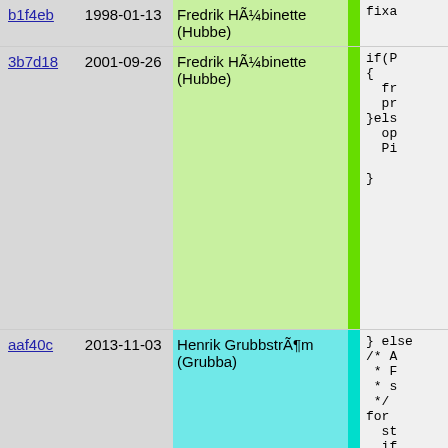| hash | date | author | strip | code |
| --- | --- | --- | --- | --- |
| b1f4eb | 1998-01-13 | Fredrik HÃ¼binette (Hubbe) |  | fixa |
| 3b7d18 | 2001-09-26 | Fredrik HÃ¼binette (Hubbe) |  | if(P
{
  fr
  pr
}els
  op
  Pi
} |
| aaf40c | 2013-11-03 | Henrik GrubbstrÃ¶m (Grubba) |  | } else
/* A
 * F
 * s
 */
for
  st
  if
  if
  ov

} |
| b1f4eb | 1998-01-13 | Fredrik HÃ¼binette (Hubbe) |  | } |
| aa771b | 2003-08-20 | Martin Stjernholm |  | #ifdef PIK |
| 4c4f93 | 2005-05-26 | Martin Stjernholm |  | if (pr
  chec
  if( |